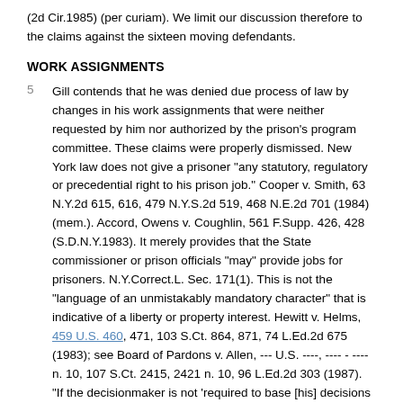(2d Cir.1985) (per curiam). We limit our discussion therefore to the claims against the sixteen moving defendants.
WORK ASSIGNMENTS
5  Gill contends that he was denied due process of law by changes in his work assignments that were neither requested by him nor authorized by the prison's program committee. These claims were properly dismissed. New York law does not give a prisoner "any statutory, regulatory or precedential right to his prison job." Cooper v. Smith, 63 N.Y.2d 615, 616, 479 N.Y.S.2d 519, 468 N.E.2d 701 (1984) (mem.). Accord, Owens v. Coughlin, 561 F.Supp. 426, 428 (S.D.N.Y.1983). It merely provides that the State commissioner or prison officials "may" provide jobs for prisoners. N.Y.Correct.L. Sec. 171(1). This is not the "language of an unmistakably mandatory character" that is indicative of a liberty or property interest. Hewitt v. Helms, 459 U.S. 460, 471, 103 S.Ct. 864, 871, 74 L.Ed.2d 675 (1983); see Board of Pardons v. Allen, --- U.S. ----, ---- - ---- n. 10, 107 S.Ct. 2415, 2421 n. 10, 96 L.Ed.2d 303 (1987). "If the decisionmaker is not 'required to base [his] decisions on objective and defined criteria,' but instead 'can deny the requested relief for any constitutionally permissible reason or for no reason at all,' the